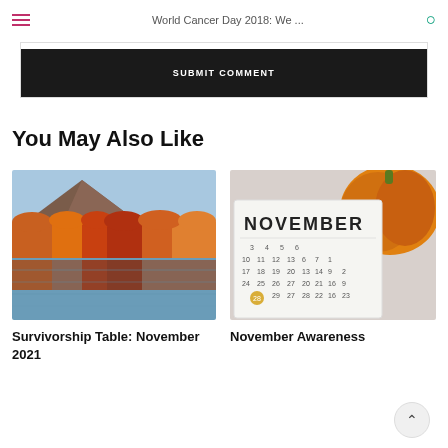World Cancer Day 2018: We ...
SUBMIT COMMENT
You May Also Like
[Figure (photo): Autumn foliage reflected in a lake with a mountain in the background]
Survivorship Table: November 2021
[Figure (photo): November calendar page with a pumpkin beside it]
November Awareness